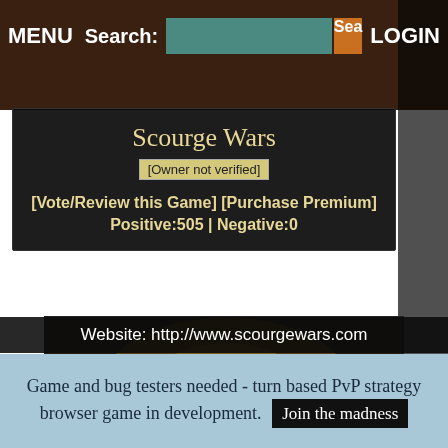MENU   Search:   [search input]   Sea   LOGIN
Scourge Wars
[Owner not verified]
[Vote/Review this Game] [Purchase Premium]
Positive:505 | Negative:0
[Figure (illustration): Scourge Wars game banner showing a dark post-apocalyptic scene with ruined structures and the game title 'Scourge Wars' in gothic font]
Website: http://www.scourgewars.com
Game and bug testers needed - turn based PvP strategy browser game in development. Join the madness